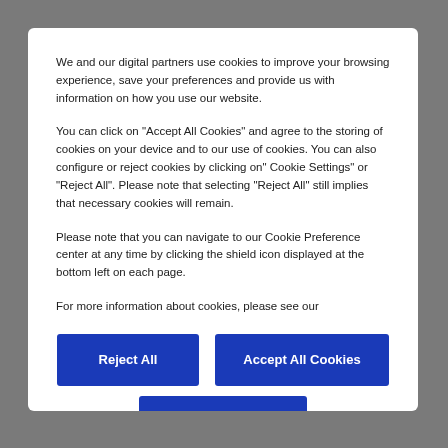We and our digital partners use cookies to improve your browsing experience, save your preferences and provide us with information on how you use our website.
You can click on "Accept All Cookies" and agree to the storing of cookies on your device and to our use of cookies. You can also configure or reject cookies by clicking on" Cookie Settings" or "Reject All". Please note that selecting "Reject All" still implies that necessary cookies will remain.
Please note that you can navigate to our Cookie Preference center at any time by clicking the shield icon displayed at the bottom left on each page.
For more information about cookies, please see our
Reject All
Accept All Cookies
Cookies Settings